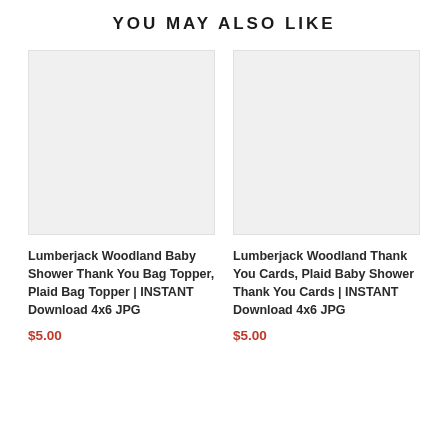YOU MAY ALSO LIKE
[Figure (photo): Blank light gray product image placeholder for Lumberjack Woodland Baby Shower Thank You Bag Topper]
Lumberjack Woodland Baby Shower Thank You Bag Topper, Plaid Bag Topper | INSTANT Download 4x6 JPG
$5.00
[Figure (photo): Blank light gray product image placeholder for Lumberjack Woodland Thank You Cards]
Lumberjack Woodland Thank You Cards, Plaid Baby Shower Thank You Cards | INSTANT Download 4x6 JPG
$5.00